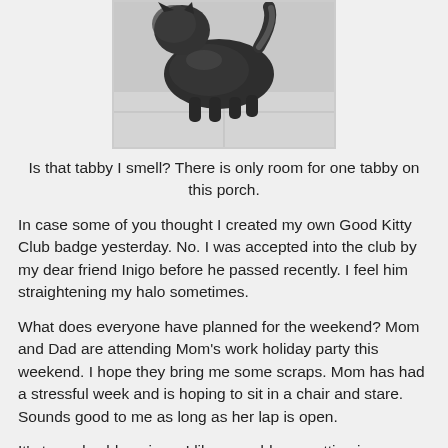[Figure (photo): A dark tabby cat photographed from above, walking on a light-colored floor or porch surface.]
Is that tabby I smell? There is only room for one tabby on this porch.
In case some of you thought I created my own Good Kitty Club badge yesterday. No. I was accepted into the club by my dear friend Inigo before he passed recently. I feel him straightening my halo sometimes.
What does everyone have planned for the weekend? Mom and Dad are attending Mom's work holiday party this weekend. I hope they bring me some scraps. Mom has had a stressful week and is hoping to sit in a chair and stare. Sounds good to me as long as her lap is open.
It's turned cold again so I like my odds on getting in some